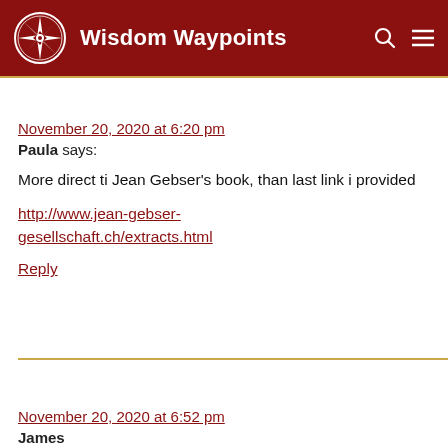Wisdom Waypoints
November 20, 2020 at 6:20 pm
Paula says:
More direct ti Jean Gebser's book, than last link i provided
http://www.jean-gebser-gesellschaft.ch/extracts.html
Reply
November 20, 2020 at 6:52 pm